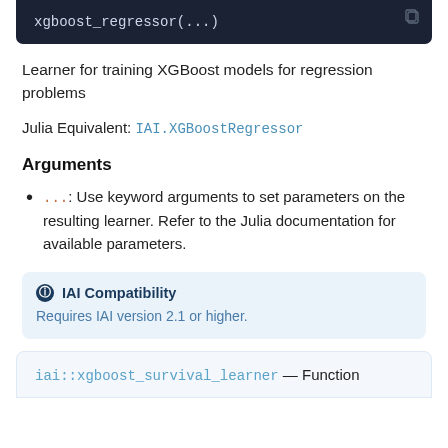[Figure (screenshot): Code block with dark background showing: xgboost_regressor(...)]
Learner for training XGBoost models for regression problems
Julia Equivalent: IAI.XGBoostRegressor
Arguments
...: Use keyword arguments to set parameters on the resulting learner. Refer to the Julia documentation for available parameters.
IAI Compatibility
Requires IAI version 2.1 or higher.
iai::xgboost_survival_learner — Function